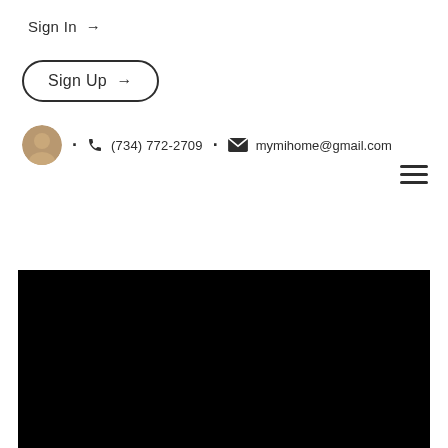Sign In →
Sign Up →
• 📞 (734) 772-2709 • ✉ mymihome@gmail.com
[Figure (other): Hamburger menu icon (three horizontal lines)]
[Figure (photo): Large dark/black hero image area at bottom of page]